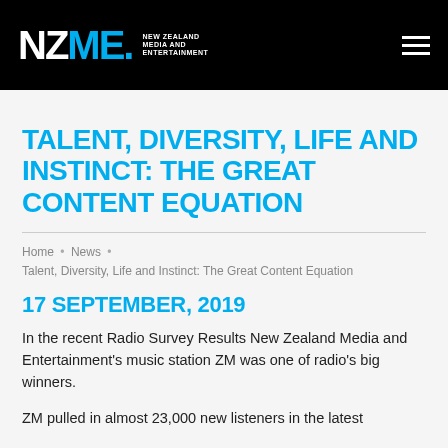NZME. NEW ZEALAND MEDIA AND ENTERTAINMENT
TALENT, DIVERSITY, LIFE AND INSTINCT: THE GREAT CONTENT EQUATION
Home • News • Talent, Diversity, Life and Instinct: The Great Content Equation
17 SEPTEMBER, 2019
In the recent Radio Survey Results New Zealand Media and Entertainment's music station ZM was one of radio's big winners.
ZM pulled in almost 23,000 new listeners in the latest